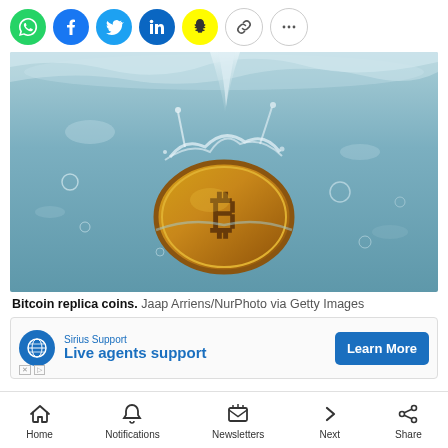[Figure (other): Social media sharing icons row: WhatsApp (green), Facebook (blue), Twitter (light blue), LinkedIn (dark blue), Snapchat (yellow), Link (grey outline), More/ellipsis (grey outline)]
[Figure (photo): A gold Bitcoin replica coin sinking into water with splash and bubbles, underwater photography on a light blue-grey background.]
Bitcoin replica coins.  Jaap Arriens/NurPhoto via Getty Images
[Figure (other): Advertisement banner: Sirius Support - Live agents support - Learn More button]
[Figure (other): Bottom navigation bar with icons: Home, Notifications, Newsletters, Next, Share]